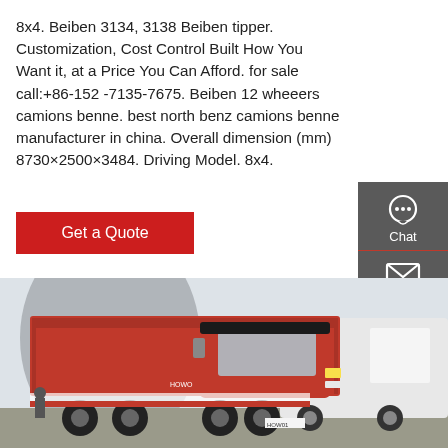8x4. Beiben 3134, 3138 Beiben tipper. Customization, Cost Control Built How You Want it, at a Price You Can Afford. for sale call:+86-152 -7135-7675. Beiben 12 wheeers camions benne. best north benz camions benne manufacturer in china. Overall dimension (mm) 8730×2500×3484. Driving Model. 8x4.
Get a Quote
[Figure (photo): Red Beiben/HOWO tipper dump truck (8x4) parked in a lot, with a white truck and building in background.]